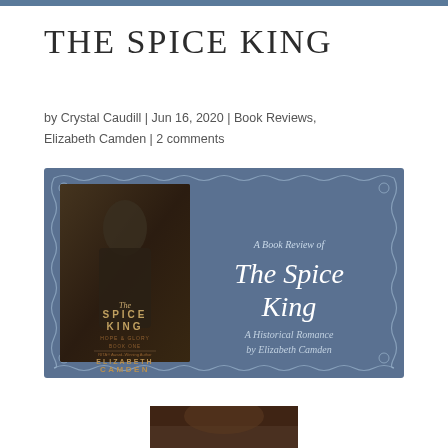THE SPICE KING
by Crystal Caudill | Jun 16, 2020 | Book Reviews, Elizabeth Camden | 2 comments
[Figure (illustration): A book review banner image with a steel-blue background featuring decorative scrollwork border. On the left is the book cover of 'The Spice King' by Elizabeth Camden showing a man in period dress. On the right, cursive script text reads 'A Book Review of The Spice King — A Historical Romance by Elizabeth Camden'.]
[Figure (photo): Partial bottom crop of a photograph, visible at the very bottom of the page.]